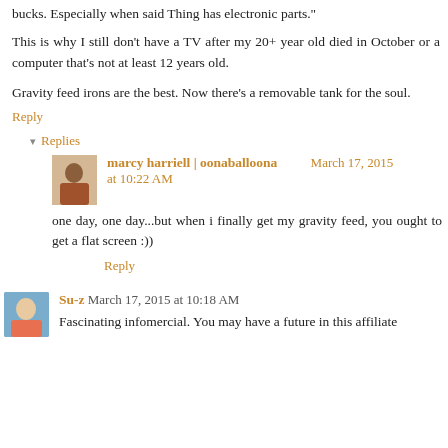bucks. Especially when said Thing has electronic parts."
This is why I still don't have a TV after my 20+ year old died in October or a computer that's not at least 12 years old.
Gravity feed irons are the best. Now there's a removable tank for the soul.
Reply
▾ Replies
marcy harriell | oonaballoona  March 17, 2015 at 10:22 AM
one day, one day...but when i finally get my gravity feed, you ought to get a flat screen :))
Reply
Su-z  March 17, 2015 at 10:18 AM
Fascinating infomercial. You may have a future in this affiliate